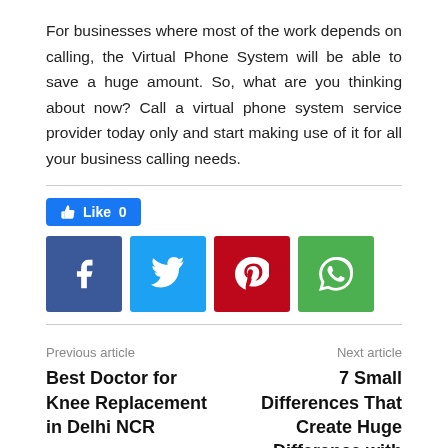For businesses where most of the work depends on calling, the Virtual Phone System will be able to save a huge amount. So, what are you thinking about now? Call a virtual phone system service provider today only and start making use of it for all your business calling needs.
[Figure (infographic): Facebook Like button showing count of 0, followed by social share buttons for Facebook, Twitter, Pinterest, and WhatsApp]
Previous article
Best Doctor for Knee Replacement in Delhi NCR
Next article
7 Small Differences That Create Huge Difference with Yes Or No Wheel